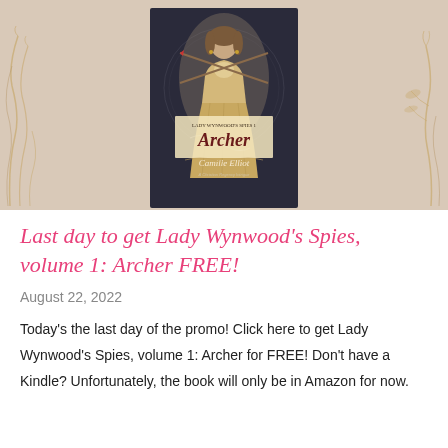[Figure (illustration): Book cover for 'Lady Wynwood's Spies, volume 1: Archer' by Camille Elliot, showing a woman in a golden period dress against a dark ornate background with arrows. The cover is displayed against a beige/taupe background with decorative botanical elements on either side.]
Last day to get Lady Wynwood's Spies, volume 1: Archer FREE!
August 22, 2022
Today's the last day of the promo! Click here to get Lady Wynwood's Spies, volume 1: Archer for FREE! Don't have a Kindle? Unfortunately, the book will only be in Amazon for now.